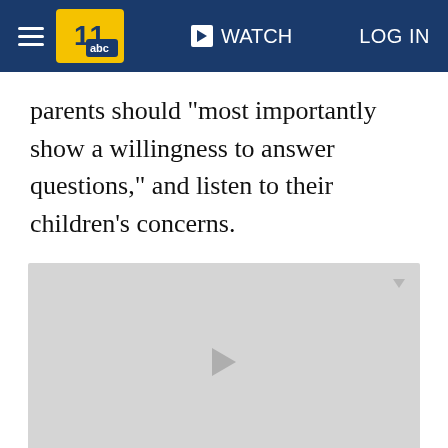WATCH | LOG IN
parents should "most importantly show a willingness to answer questions," and listen to their children's concerns.
[Figure (screenshot): Video player placeholder with a centered play button arrow and a small corner icon, light gray background]
[Figure (screenshot): Advertisement or content placeholder, light gray background]